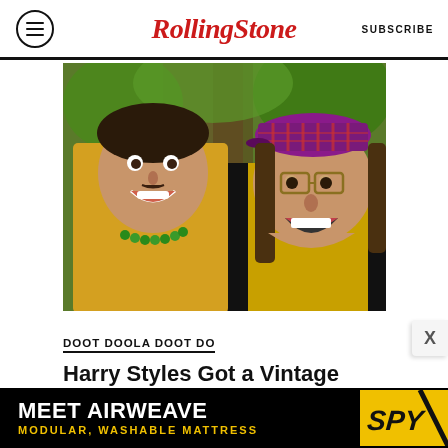RollingStone  SUBSCRIBE
[Figure (photo): Two men smiling and posing together outdoors. Left person wearing yellow shirt with green bead necklace, right person wearing plaid cap, glasses, and yellow/black jacket, mouth open wide smiling.]
DOOT DOOLA DOOT DO
Harry Styles Got a Vintage One Direction Toothbrush, Fleetwood Mac 8-Track Out of His Nardwuar Interview
BY LARISHA PAUL
[Figure (infographic): Advertisement: MEET AIRWEAVE MODULAR, WASHABLE MATTRESS with SPY logo]